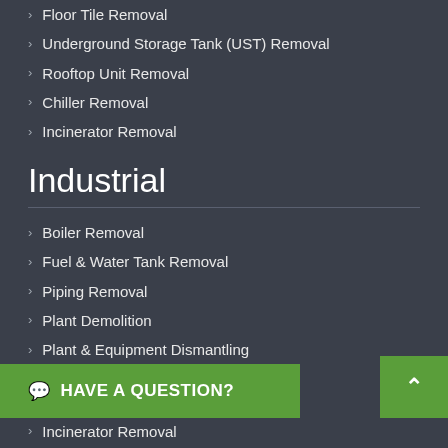Floor Tile Removal
Underground Storage Tank (UST) Removal
Rooftop Unit Removal
Chiller Removal
Incinerator Removal
Industrial
Boiler Removal
Fuel & Water Tank Removal
Piping Removal
Plant Demolition
Plant & Equipment Dismantling
Plant Hazardous Material Removal
Industrial Dismantling
Underground Storage Tank (UST) Removal
HAVE A QUESTION?
Incinerator Removal